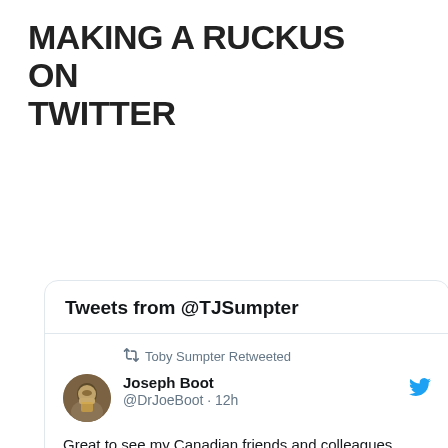MAKING A RUCKUS ON TWITTER
[Figure (screenshot): Screenshot of a Twitter feed showing tweets from @TJSumpter. First tweet is a retweet by Toby Sumpter of Joseph Boot (@DrJoeBoot, 12h): 'Great to see my Canadian friends and colleagues hosting this conference to launch an important new documentary concerning the calling of the church.' with 14 likes. Second tweet shows Toby Sumpter retweeting King's Cross Kirk (@KingsCross_Kirk, Aug 27) with a menu overlay visible.]